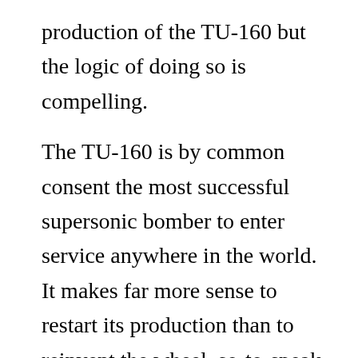production of the TU-160 but the logic of doing so is compelling.
The TU-160 is by common consent the most successful supersonic bomber to enter service anywhere in the world. It makes far more sense to restart its production than to reinvent the wheel, so-to-speak, by taking on the immense cost and design risk of developing an entirely new bomber.
Bringing the TU-160 back into production